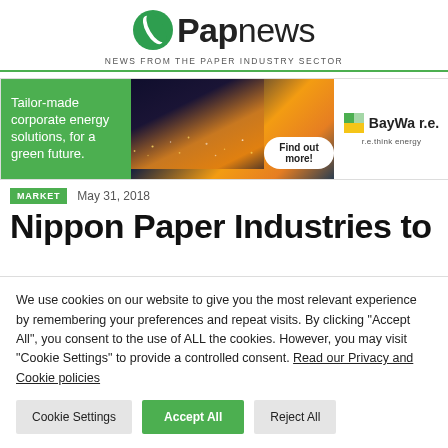[Figure (logo): Papnews logo with green leaf/circle icon and text 'Papnews', tagline 'NEWS FROM THE PAPER INDUSTRY SECTOR']
[Figure (infographic): BayWa r.e. banner ad: green left panel with text 'Tailor-made corporate energy solutions, for a green future.', center aerial night city photo with 'Find out more!' button, right panel with BayWa r.e. logo and tagline 're.think energy']
MARKET   May 31, 2018
Nippon Paper Industries to
We use cookies on our website to give you the most relevant experience by remembering your preferences and repeat visits. By clicking "Accept All", you consent to the use of ALL the cookies. However, you may visit "Cookie Settings" to provide a controlled consent. Read our Privacy and Cookie policies